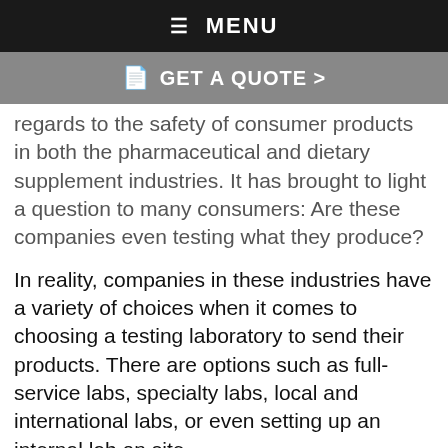≡ MENU
📄 GET A QUOTE >
regards to the safety of consumer products in both the pharmaceutical and dietary supplement industries. It has brought to light a question to many consumers: Are these companies even testing what they produce?
In reality, companies in these industries have a variety of choices when it comes to choosing a testing laboratory to send their products. There are options such as full-service labs, specialty labs, local and international labs, or even setting up an internal lab on site.
Chances are that if you're familiar with product testing, you're currently happy with the laboratory choice you've made. But here's a thought: How do you know the lab you're